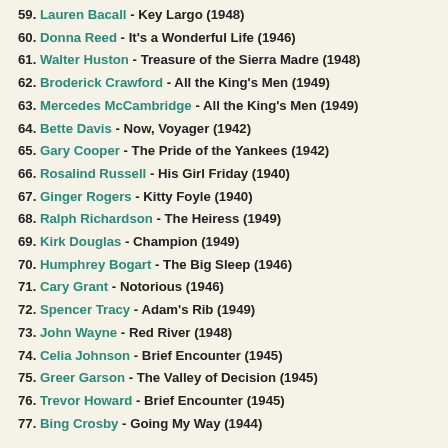59. Lauren Bacall - Key Largo (1948)
60. Donna Reed - It's a Wonderful Life (1946)
61. Walter Huston - Treasure of the Sierra Madre (1948)
62. Broderick Crawford - All the King's Men (1949)
63. Mercedes McCambridge - All the King's Men (1949)
64. Bette Davis - Now, Voyager (1942)
65. Gary Cooper - The Pride of the Yankees (1942)
66. Rosalind Russell - His Girl Friday (1940)
67. Ginger Rogers - Kitty Foyle (1940)
68. Ralph Richardson - The Heiress (1949)
69. Kirk Douglas - Champion (1949)
70. Humphrey Bogart - The Big Sleep (1946)
71. Cary Grant - Notorious (1946)
72. Spencer Tracy - Adam's Rib (1949)
73. John Wayne - Red River (1948)
74. Celia Johnson - Brief Encounter (1945)
75. Greer Garson - The Valley of Decision (1945)
76. Trevor Howard - Brief Encounter (1945)
77. Bing Crosby - Going My Way (1944)